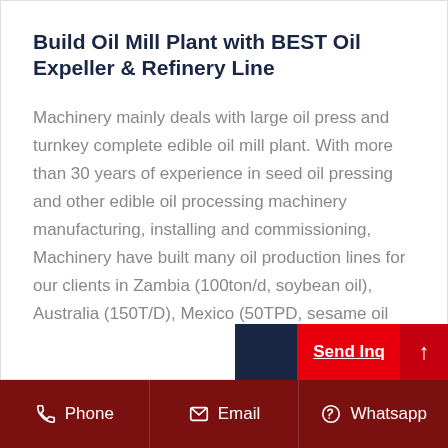Build Oil Mill Plant with BEST Oil Expeller & Refinery Line
Machinery mainly deals with large oil press and turnkey complete edible oil mill plant. With more than 30 years of experience in seed oil pressing and other edible oil processing machinery manufacturing, installing and commissioning, Machinery have built many oil production lines for our clients in Zambia (100ton/d, soybean oil), Australia (150T/D), Mexico (50TPD, sesame oil
[Figure (other): Send Inquiry button (red) with dark blue panel and up-arrow scroll button]
Phone   Email   Whatsapp